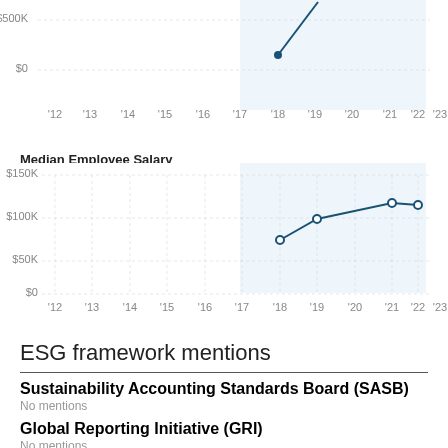[Figure (line-chart): Median Employee Salary]
ESG framework mentions
Sustainability Accounting Standards Board (SASB)
No mentions
Global Reporting Initiative (GRI)
No mentions